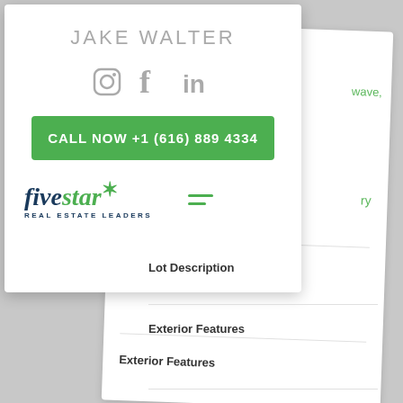[Figure (screenshot): Real estate agent contact card overlay showing Jake Walter's name, social media icons (Instagram, Facebook, LinkedIn), a green Call Now button with phone number +1 (616) 889 4334, and Five Star Real Estate Leaders logo with hamburger menu icon. Behind it is a partially visible property listing page with fields for Lot Description and Exterior Features.]
JAKE WALTER
CALL NOW +1 (616) 889 4334
five star* REAL ESTATE LEADERS
Lot Description
Exterior Features